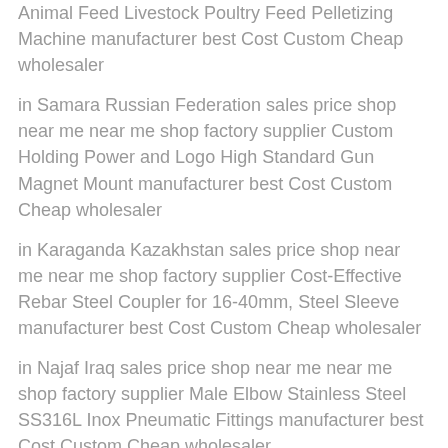Animal Feed Livestock Poultry Feed Pelletizing Machine manufacturer best Cost Custom Cheap wholesaler
in Samara Russian Federation sales price shop near me near me shop factory supplier Custom Holding Power and Logo High Standard Gun Magnet Mount manufacturer best Cost Custom Cheap wholesaler
in Karaganda Kazakhstan sales price shop near me near me shop factory supplier Cost-Effective Rebar Steel Coupler for 16-40mm, Steel Sleeve manufacturer best Cost Custom Cheap wholesaler
in Najaf Iraq sales price shop near me near me shop factory supplier Male Elbow Stainless Steel SS316L Inox Pneumatic Fittings manufacturer best Cost Custom Cheap wholesaler
in Tel Aviv Israel sales price shop near me near me shop factory supplier FM UL Listed Gi Fittings, Malleable Iron Fittings manufacturer best Cost